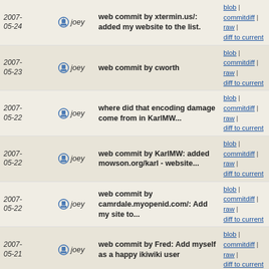| Date | Author | Message | Links |
| --- | --- | --- | --- |
| 2007-05-24 | joey | web commit by xtermin.us/: added my website to the list. | blob | commitdiff | raw | diff to current |
| 2007-05-23 | joey | web commit by cworth | blob | commitdiff | raw | diff to current |
| 2007-05-22 | joey | where did that encoding damage come from in KarlMW... | blob | commitdiff | raw | diff to current |
| 2007-05-22 | joey | web commit by KarlMW: added mowson.org/karl - website... | blob | commitdiff | raw | diff to current |
| 2007-05-22 | joey | web commit by camrdale.myopenid.com/: Add my site to... | blob | commitdiff | raw | diff to current |
| 2007-05-21 | joey | web commit by Fred: Add myself as a happy ikiwiki user | blob | commitdiff | raw | diff to current |
| 2007-05-21 | joey | Debian-IN | blob | commitdiff | raw | diff to current |
| 2007-05-02 | joshtriplett | Add Embedded Moose, Andrew Greenberg's personal and... | blob | commitdiff | raw | diff to current |
| 2007-05-01 | joey | web commit by http://getopenid.com/lutherbaker | blob | commitdiff | raw | diff to current |
| 2007-05-?? | joey | web commit by JoshTriplett: Add the ... | blob | commitdiff |